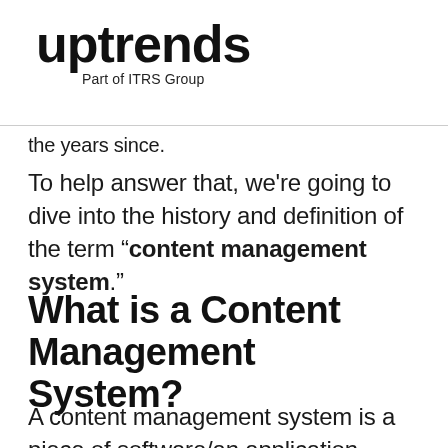[Figure (logo): Uptrends logo with text 'uptrends' in bold black and subtitle 'Part of ITRS Group']
the years since.
To help answer that, we're going to dive into the history and definition of the term “content management system.”
What is a Content Management System?
A content management system is a piece of software/an application